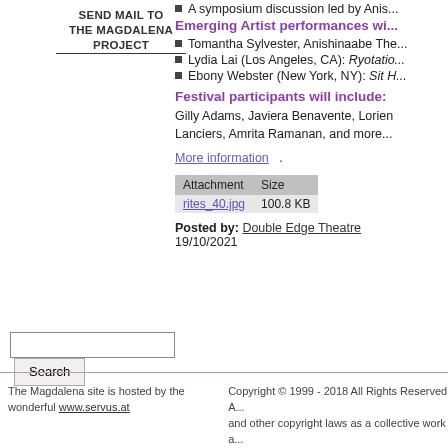SEND MAIL TO
THE MAGDALENA PROJECT
A symposium discussion led by Anis...
Emerging Artist performances wi...
Tomantha Sylvester, Anishinaabe The...
Lydia Lai (Los Angeles, CA): Ryotatio...
Ebony Webster (New York, NY): Sit H...
Festival participants will include:
Gilly Adams, Javiera Benavente, Lorien Lanciers, Amrita Ramanan, and more...
More information   .
| Attachment | Size |
| --- | --- |
| rites_40.jpg | 100.8 KB |
Posted by: Double Edge Theatre
19/10/2021
Search
The Magdalena site is hosted by the wonderful www.servus.at
Copyright © 1999 - 2018 All Rights Reserved A... and other copyright laws as a collective work a... or transmitted in any form without the prior writ...